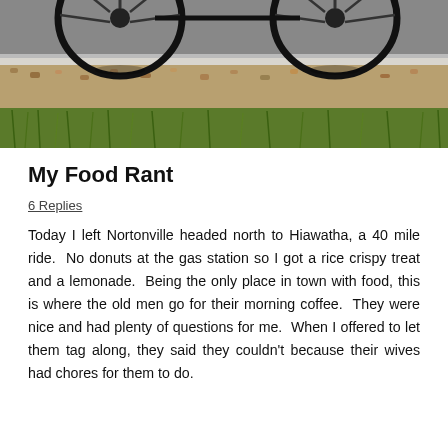[Figure (photo): A bicycle wheel resting on a sidewalk curb with gravel and grass visible in the foreground, taken outdoors in daylight.]
My Food Rant
6 Replies
Today I left Nortonville headed north to Hiawatha, a 40 mile ride.  No donuts at the gas station so I got a rice crispy treat and a lemonade.  Being the only place in town with food, this is where the old men go for their morning coffee.  They were nice and had plenty of questions for me.  When I offered to let them tag along, they said they couldn't because their wives had chores for them to do.